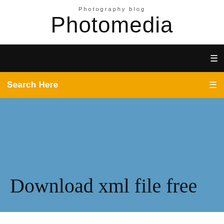Photography blog
Photomedia
Search Here
Download xml file free